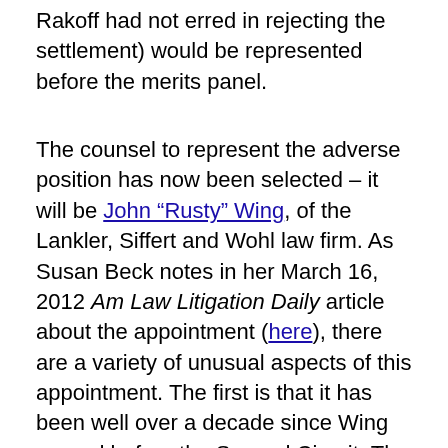Rakoff had not erred in rejecting the settlement) would be represented before the merits panel.
The counsel to represent the adverse position has now been selected – it will be John "Rusty" Wing, of the Lankler, Siffert and Wohl law firm. As Susan Beck notes in her March 16, 2012 Am Law Litigation Daily article about the appointment (here), there are a variety of unusual aspects of this appointment. The first is that it has been well over a decade since Wing argued before the Second Circuit. The second is that Wing apparently was selected by Rakoff himsef, almost as if Wing were to be representing Rakoff in person, rather than merely arguing in support of his ruling rejecting the settlement. Wing is in fact a former colleague of Rakoff's when the two served in the U.S. Attorney's office together. The selection of Wing, and more